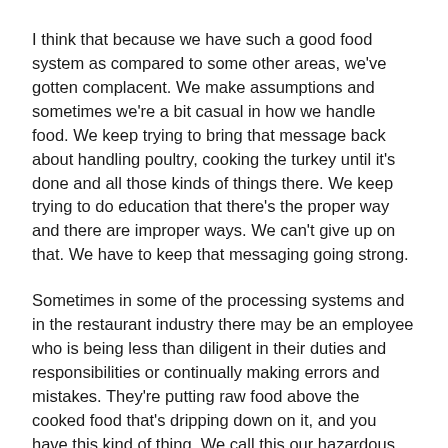I think that because we have such a good food system as compared to some other areas, we've gotten complacent. We make assumptions and sometimes we're a bit casual in how we handle food. We keep trying to bring that message back about handling poultry, cooking the turkey until it's done and all those kinds of things there. We keep trying to do education that there's the proper way and there are improper ways. We can't give up on that. We have to keep that messaging going strong.
Sometimes in some of the processing systems and in the restaurant industry there may be an employee who is being less than diligent in their duties and responsibilities or continually making errors and mistakes. They're putting raw food above the cooked food that's dripping down on it, and you have this kind of thing. We call this our hazardous analysis and critical control points. That's a long title, but that's where the inspector goes in and looks at the processes through there: Where are all the key parts where